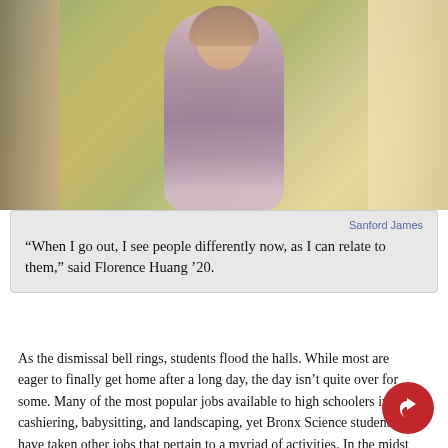[Figure (photo): Young woman with pink-highlighted hair wearing a lavender hoodie, standing in a school hallway]
Sanford James
“When I go out, I see people differently now, as I can relate to them,” said Florence Huang ’20.
As the dismissal bell rings, students flood the halls. While most are eager to finally get home after a long day, the day isn’t quite over for some. Many of the most popular jobs available to high schoolers include cashiering, babysitting, and landscaping, yet Bronx Science students have taken other jobs that pertain to a myriad of activities. In the midst of an increasingly partisan political atmosphere, many students have begun working on campaigns and even political canvassing firms.
A popular political canvassing firm that Bronx Science students wo… Meridian Strategies. Meridian Strategies is an issue management…